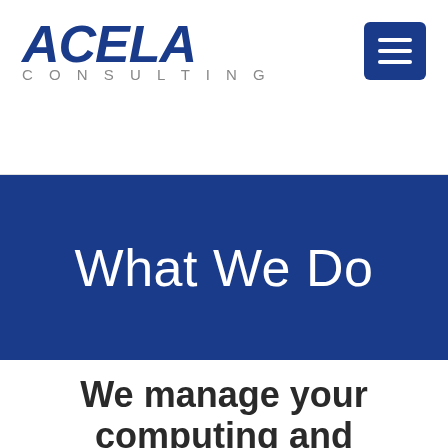ACELA CONSULTING
What We Do
We manage your computing and communications environment so you